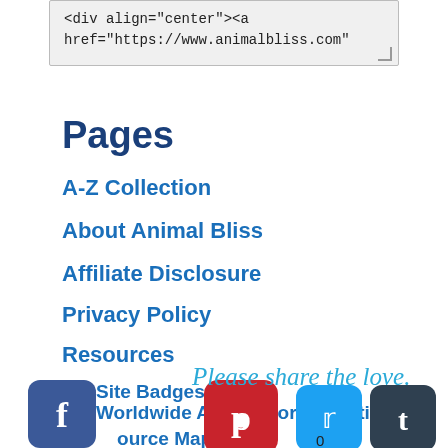[Figure (screenshot): Code snippet box showing HTML: <div align="center"><a href="https://www.animalbliss.com"]
Pages
A-Z Collection
About Animal Bliss
Affiliate Disclosure
Privacy Policy
Resources
Site Badges
Please share the love.
Worldwide Animal Portrait Artists
Resource Map
[Figure (screenshot): Social share buttons: Facebook, Pinterest, Twitter, Tumblr, LinkedIn icons with count 0]